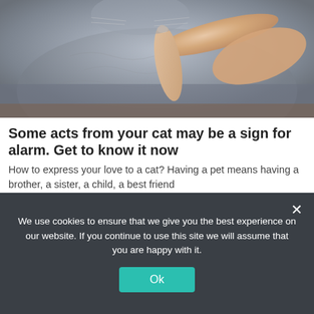[Figure (photo): Close-up photo of a grey fluffy cat being touched by a human hand/finger]
Some acts from your cat may be a sign for alarm. Get to know it now
How to express your love to a cat? Having a pet means having a brother, a sister, a child, a best friend
Geas.best | Sponsored
We use cookies to ensure that we give you the best experience on our website. If you continue to use this site we will assume that you are happy with it.